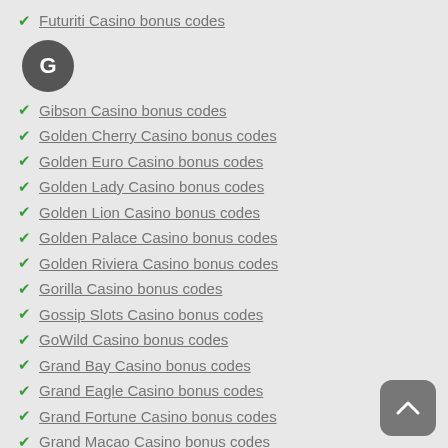Futuriti Casino bonus codes
[Figure (other): Circular badge with letter G on grey background]
Gibson Casino bonus codes
Golden Cherry Casino bonus codes
Golden Euro Casino bonus codes
Golden Lady Casino bonus codes
Golden Lion Casino bonus codes
Golden Palace Casino bonus codes
Golden Riviera Casino bonus codes
Gorilla Casino bonus codes
Gossip Slots Casino bonus codes
GoWild Casino bonus codes
Grand Bay Casino bonus codes
Grand Eagle Casino bonus codes
Grand Fortune Casino bonus codes
Grand Macao Casino bonus codes
Grand Parker Casino bonus codes